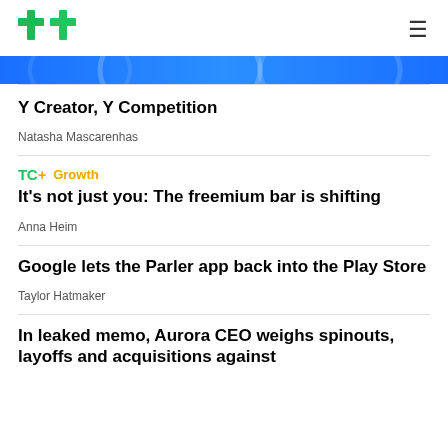TechCrunch logo and navigation menu
[Figure (illustration): Blue decorative banner with circular geometric patterns in lighter blue]
Y Creator, Y Competition
Natasha Mascarenhas
TC+ Growth
It's not just you: The freemium bar is shifting
Anna Heim
Google lets the Parler app back into the Play Store
Taylor Hatmaker
In leaked memo, Aurora CEO weighs spinouts, layoffs and acquisitions against